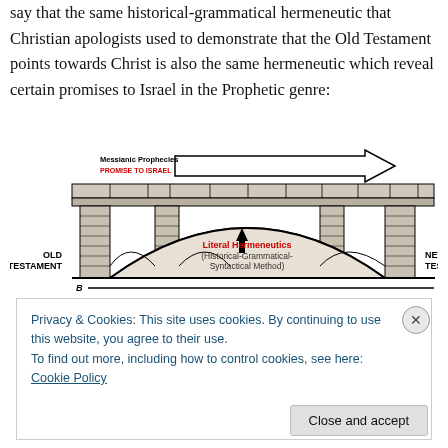say that the same historical-grammatical hermeneutic that Christian apologists used to demonstrate that the Old Testament points towards Christ is also the same hermeneutic which reveal certain promises to Israel in the Prophetic genre:
[Figure (illustration): Diagram of a stone bridge labeled with 'OLD TESTAMENT' on the left pillar and 'NEW TESTAMENT' on the right. An arrow labeled 'Messianic Prophecies / PROMISE TO ISRAEL' (in red) points right across the top of the bridge. The arch of the bridge is labeled 'Literal Hermeneutics (Historical-Grammatical-Syntactical Method)' in red text with an upward arrow. The bottom of the diagram is labeled 'B'.]
Privacy & Cookies: This site uses cookies. By continuing to use this website, you agree to their use.
To find out more, including how to control cookies, see here: Cookie Policy
Close and accept